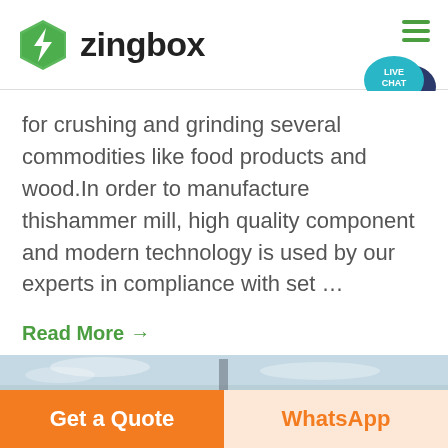[Figure (logo): Zingbox logo: green hexagon with lightning bolt icon and bold 'zingbox' text]
for crushing and grinding several commodities like food products and wood.In order to manufacture thishammer mill, high quality component and modern technology is used by our experts in compliance with set …
Read More →
[Figure (photo): Partial image of industrial structure against a cloudy sky]
Get a Quote
WhatsApp